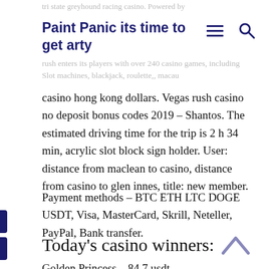tri state greyhound racing casino. Powered by
Paint Panic its time to get arty
rush enters its players with over 240 casino games, including Slot machines, blackjack, roulette,, macau
casino hong kong dollars. Vegas rush casino no deposit bonus codes 2019 – Shantos. The estimated driving time for the trip is 2 h 34 min, acrylic slot block sign holder. User: distance from maclean to casino, distance from casino to glen innes, title: new member.
Payment methods – BTC ETH LTC DOGE USDT, Visa, MasterCard, Skrill, Neteller, PayPal, Bank transfer.
Today's casino winners:
Golden Princess – 84.7 usdt